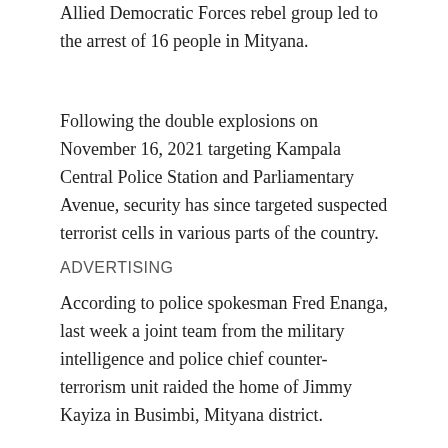Allied Democratic Forces rebel group led to the arrest of 16 people in Mityana.
Following the double explosions on November 16, 2021 targeting Kampala Central Police Station and Parliamentary Avenue, security has since targeted suspected terrorist cells in various parts of the country.
ADVERTISING
According to police spokesman Fred Enanga, last week a joint team from the military intelligence and police chief counter-terrorism unit raided the home of Jimmy Kayiza in Busimbi, Mityana district.
ADVERTISING
“This was used as a training center for ADF rebel activities. A total of 16 suspects were arrested while military-style outfits, jungle boots, electronic gadgets and cell phones were recovered,” he said. said